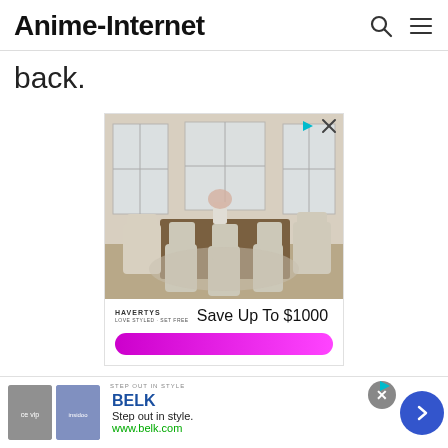Anime-Internet
back.
[Figure (screenshot): Advertisement for Havertys furniture showing a dining room set with wooden table and upholstered chairs. Text reads: HAVERTYS Save Up To $1000]
[Figure (screenshot): Bottom advertisement bar for BELK. Text: STEP OUT IN STYLE | BELK | Step out in style. | www.belk.com]